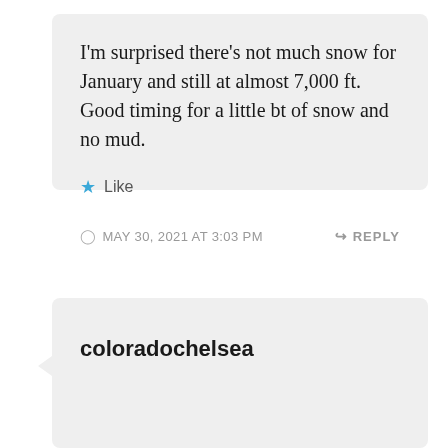I'm surprised there's not much snow for January and still at almost 7,000 ft. Good timing for a little bt of snow and no mud.
★ Like
MAY 30, 2021 AT 3:03 PM
↳ REPLY
coloradochelsea